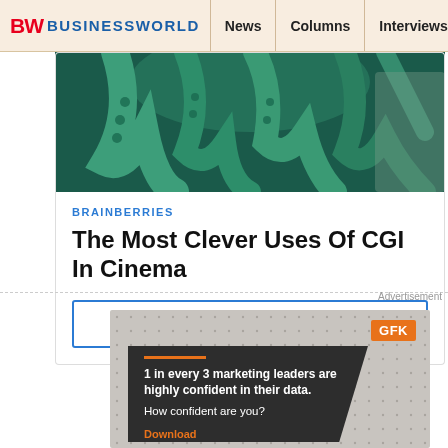BW BUSINESSWORLD | News | Columns | Interviews | BW
[Figure (photo): Octopus tentacles CGI image for Brainberries article about CGI in cinema]
BRAINBERRIES
The Most Clever Uses Of CGI In Cinema
LEARN MORE >
Advertisement
[Figure (infographic): GFK advertisement: dotted grey background with GFK logo in orange. Dark panel reads: '1 in every 3 marketing leaders are highly confident in their data. How confident are you? Download']